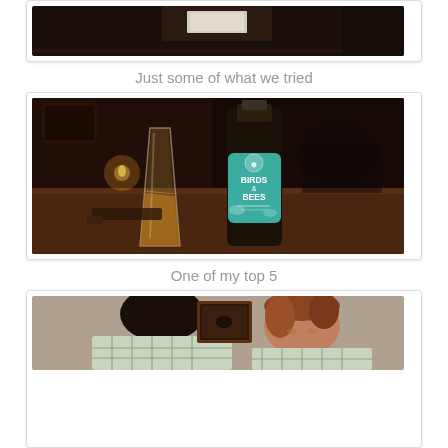[Figure (photo): Top portion of a photo showing a dark table scene, partially cut off at top of page]
Just some of what we tried
[Figure (photo): A glass of beer and a dark bottle with a teal label reading 'Birds & Bees' on a wooden pub table]
One of my top 5
[Figure (photo): Two people sitting at a pub table, one with dark hair leaning forward, one with reddish hair, partially visible at bottom of page]